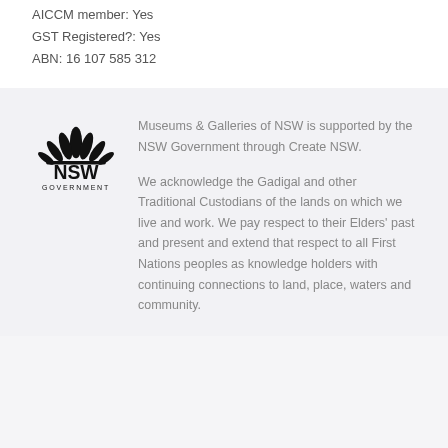AICCM member: Yes
GST Registered?: Yes
ABN: 16 107 585 312
[Figure (logo): NSW Government logo with lotus/floral emblem above text 'NSW GOVERNMENT']
Museums & Galleries of NSW is supported by the NSW Government through Create NSW.

We acknowledge the Gadigal and other Traditional Custodians of the lands on which we live and work. We pay respect to their Elders' past and present and extend that respect to all First Nations peoples as knowledge holders with continuing connections to land, place, waters and community.